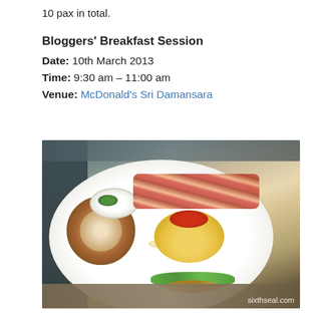10 pax in total.
Bloggers' Breakfast Session
Date: 10th March 2013
Time: 9:30 am – 11:00 am
Venue: McDonald's Sri Damansara
[Figure (photo): A gourmet breakfast dish on a white plate featuring scrambled eggs topped with red chilli strips, bacon, arugula greens, on toasted bread with a small bowl of sauce. Photo watermarked sixthseal.com.]